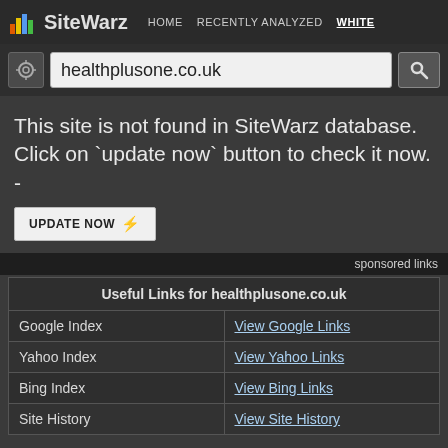SiteWarz — HOME  RECENTLY ANALYZED  WHITE
[Figure (screenshot): Search bar with gear icon, text input showing healthplusone.co.uk, and search button]
This site is not found in SiteWarz database. Click on `update now` button to check it now. -
UPDATE NOW ⚡
sponsored links
| Useful Links for healthplusone.co.uk |  |
| --- | --- |
| Google Index | View Google Links |
| Yahoo Index | View Yahoo Links |
| Bing Index | View Bing Links |
| Site History | View Site History |